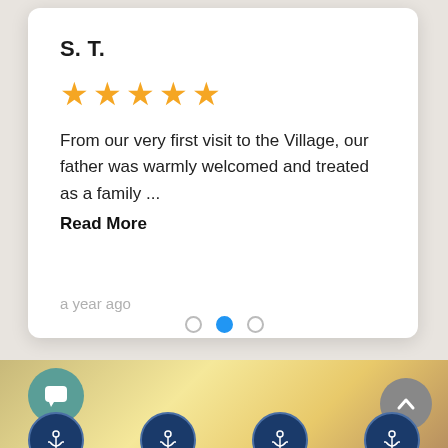S. T.
[Figure (other): Five gold star rating icons]
From our very first visit to the Village, our father was warmly welcomed and treated as a family ... Read More
a year ago
[Figure (other): Pagination dots - three dots with middle one active (blue)]
[Figure (photo): Blurred warm-toned background photo with chat button, scroll-to-top button, and anchor logo icons at bottom]